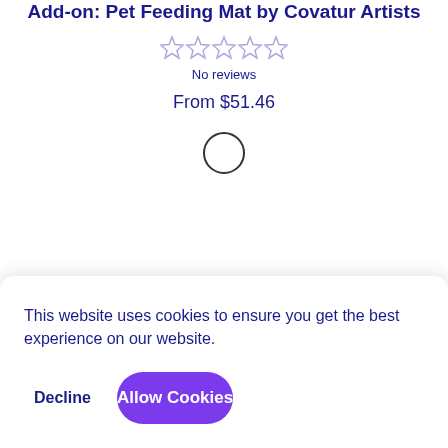Add-on: Pet Feeding Mat by Covatur Artists
[Figure (other): Five empty star rating icons in light purple/lavender color indicating no rating]
No reviews
From $51.46
[Figure (other): A circular spinner/loading icon outline]
This website uses cookies to ensure you get the best experience on our website.
Decline
Allow Cookies